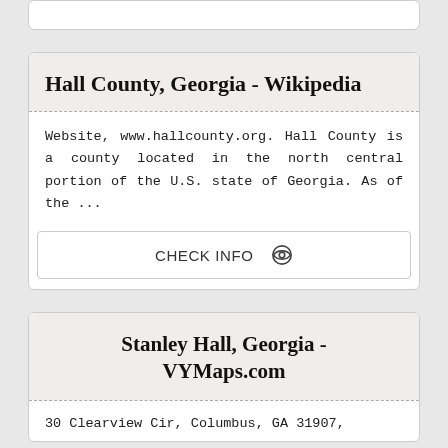Hall County, Georgia - Wikipedia
Website, www.hallcounty.org. Hall County is a county located in the north central portion of the U.S. state of Georgia. As of the ...
CHECK INFO
Stanley Hall, Georgia - VYMaps.com
30 Clearview Cir, Columbus, GA 31907,